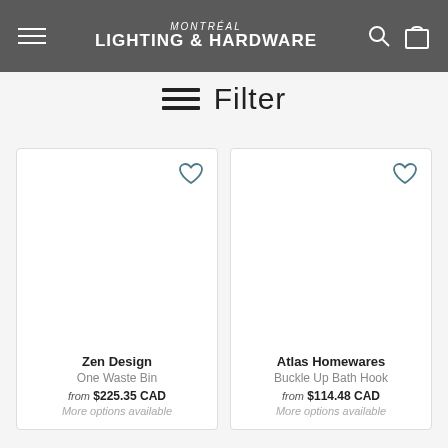MONTRÉAL LIGHTING & HARDWARE
Filter
Zen Design
One Waste Bin
from $225.35 CAD
More options available
Atlas Homewares
Buckle Up Bath Hook
from $114.48 CAD
More options available